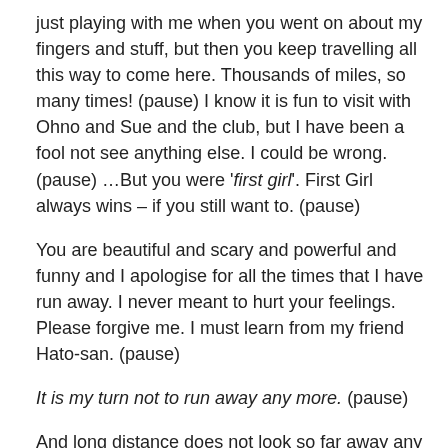just playing with me when you went on about my fingers and stuff, but then you keep travelling all this way to come here. Thousands of miles, so many times! (pause) I know it is fun to visit with Ohno and Sue and the club, but I have been a fool not see anything else. I could be wrong. (pause) …But you were 'first girl'. First Girl always wins – if you still want to. (pause)
You are beautiful and scary and powerful and funny and I apologise for all the times that I have run away. I never meant to hurt your feelings. Please forgive me. I must learn from my friend Hato-san. (pause)
It is my turn not to run away any more. (pause)
And long distance does not look so far away any more. (pause)